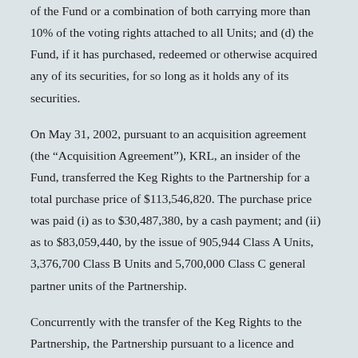of the Fund or a combination of both carrying more than 10% of the voting rights attached to all Units; and (d) the Fund, if it has purchased, redeemed or otherwise acquired any of its securities, for so long as it holds any of its securities.
On May 31, 2002, pursuant to an acquisition agreement (the “Acquisition Agreement”), KRL, an insider of the Fund, transferred the Keg Rights to the Partnership for a total purchase price of $113,546,820. The purchase price was paid (i) as to $30,487,380, by a cash payment; and (ii) as to $83,059,440, by the issue of 905,944 Class A Units, 3,376,700 Class B Units and 5,700,000 Class C general partner units of the Partnership.
Concurrently with the transfer of the Keg Rights to the Partnership, the Partnership pursuant to a licence and royalty agreement (the “Licence and Royalty Agreement”) granted KRL an exclusive and unlimited licence to use the Keg Rights for a period of 99 years, for which KRL agreed to pay the Partnership the Royalty. In connection with the Licence and Royalty Agreement, KRL granted the Partnership a...